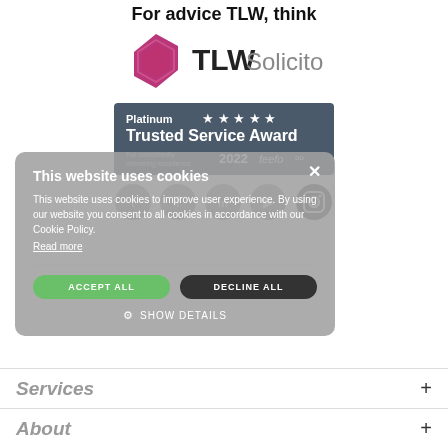For advice TLW think
[Figure (logo): TLW Solicitors logo with hexagonal shield icon in pink/magenta and TLW in bold dark text with Solicitors in grey]
[Figure (other): Platinum Trusted Service Award 5 stars 2022 feefo badge on dark blue-grey background]
[Figure (other): Social media icons row: Twitter, Facebook, LinkedIn, YouTube, Instagram circles]
This website uses cookies
This website uses cookies to improve user experience. By using our website you consent to all cookies in accordance with our Cookie Policy.
Read more
ACCEPT ALL
DECLINE ALL
SHOW DETAILS
Services
About